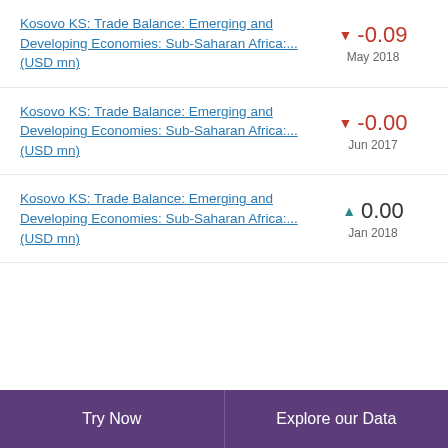Kosovo KS: Trade Balance: Emerging and Developing Economies: Sub-Saharan Africa:... (USD mn)
Kosovo KS: Trade Balance: Emerging and Developing Economies: Sub-Saharan Africa:... (USD mn)
Kosovo KS: Trade Balance: Emerging and Developing Economies: Sub-Saharan Africa:... (USD mn)
Try Now | Explore our Data